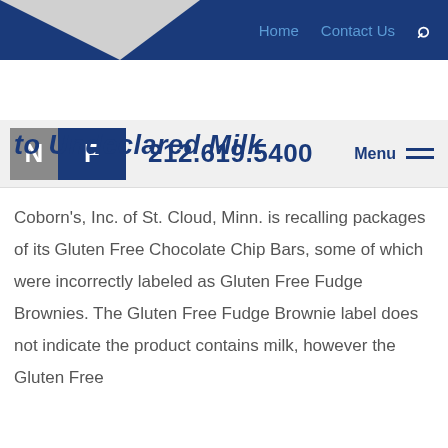Home   Contact Us   🔍
NF   212.619.5400   Menu
to Undeclared Milk
Coborn's, Inc. of St. Cloud, Minn. is recalling packages of its Gluten Free Chocolate Chip Bars, some of which were incorrectly labeled as Gluten Free Fudge Brownies. The Gluten Free Fudge Brownie label does not indicate the product contains milk, however the Gluten Free